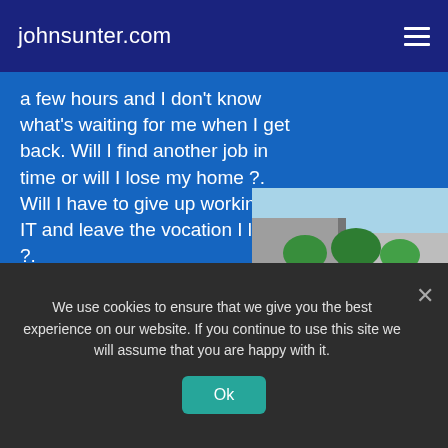johnsunter.com
a few hours and I don't know what's waiting for me when I get back. Will I find another job in time or will I lose my home ?. Will I have to give up working in IT and leave the vocation I love ?.
Its then that it occurs to me. Nelson Mandela lived here for 19 years. He must have looked across the water to the mainland and dreamed every day of
[Figure (photo): Outdoor courtyard with concrete walls and trees/shrubs against a clear blue sky]
We use cookies to ensure that we give you the best experience on our website. If you continue to use this site we will assume that you are happy with it.